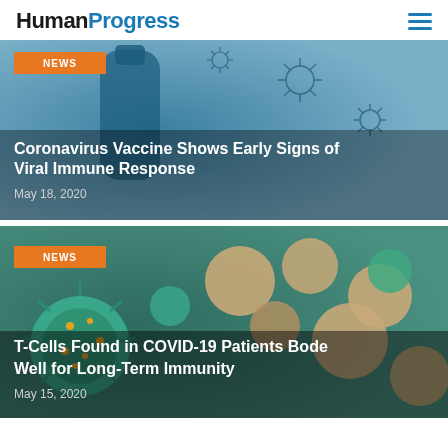HumanProgress
[Figure (photo): Blue microscopic virus particles/vaccine bottle on blue-gray background]
Coronavirus Vaccine Shows Early Signs of Viral Immune Response
May 18, 2020
[Figure (photo): Green and beige immune cells (T-cells) on teal background]
T-Cells Found in COVID-19 Patients Bode Well for Long-Term Immunity
May 15, 2020